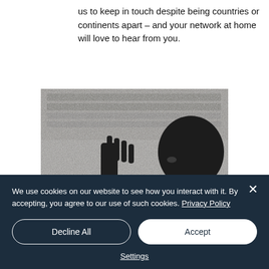us to keep in touch despite being countries or continents apart – and your network at home will love to hear from you.
[Figure (photo): Black and white photo of a person pressing their hand against a rain-speckled window, with a city building visible in the background]
We use cookies on our website to see how you interact with it. By accepting, you agree to our use of such cookies. Privacy Policy
Decline All
Accept
Settings